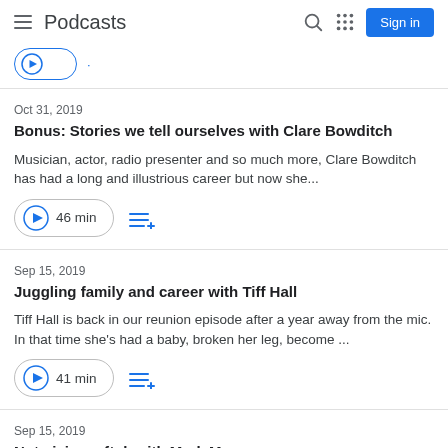Podcasts
Oct 31, 2019
Bonus: Stories we tell ourselves with Clare Bowditch
Musician, actor, radio presenter and so much more, Clare Bowditch has had a long and illustrious career but now she...
46 min
Sep 15, 2019
Juggling family and career with Tiff Hall
Tiff Hall is back in our reunion episode after a year away from the mic. In that time she's had a baby, broken her leg, become ...
41 min
Sep 15, 2019
Not giving a f*ck with Mark Manson